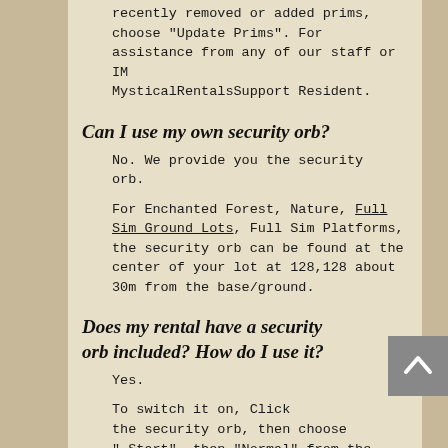recently removed or added prims, choose "Update Prims". For assistance from any of our staff or IM MysticalRentalsSupport Resident.
Can I use my own security orb?
No. We provide you the security orb.
For Enchanted Forest, Nature, Full Sim Ground Lots, Full Sim Platforms, the security orb can be found at the center of your lot at 128,128 about 30m from the base/ground.
Does my rental have a security orb included? How do I use it?
Yes.
To switch it on, Click the security orb, then choose "_Start", then "Normal" from the